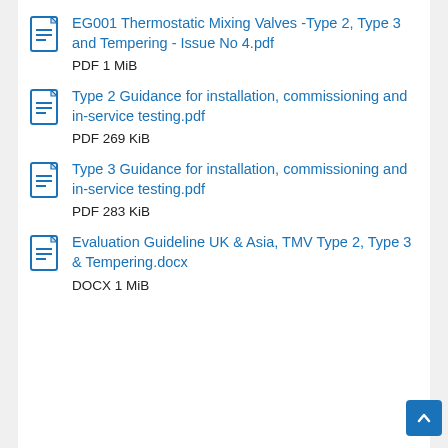EG001 Thermostatic Mixing Valves -Type 2, Type 3 and Tempering - Issue No 4.pdf
PDF 1 MiB
Type 2 Guidance for installation, commissioning and in-service testing.pdf
PDF 269 KiB
Type 3 Guidance for installation, commissioning and in-service testing.pdf
PDF 283 KiB
Evaluation Guideline UK & Asia, TMV Type 2, Type 3 & Tempering.docx
DOCX 1 MiB